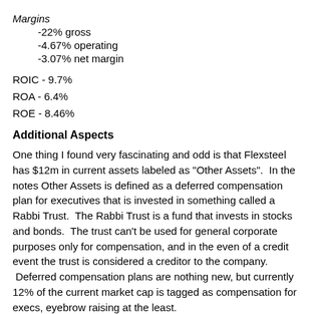Margins
-22% gross
-4.67% operating
-3.07% net margin
ROIC - 9.7%
ROA - 6.4%
ROE - 8.46%
Additional Aspects
One thing I found very fascinating and odd is that Flexsteel has $12m in current assets labeled as "Other Assets".  In the notes Other Assets is defined as a deferred compensation plan for executives that is invested in something called a Rabbi Trust.  The Rabbi Trust is a fund that invests in stocks and bonds.  The trust can't be used for general corporate purposes only for compensation, and in the even of a credit event the trust is considered a creditor to the company.  Deferred compensation plans are nothing new, but currently 12% of the current market cap is tagged as compensation for execs, eyebrow raising at the least.